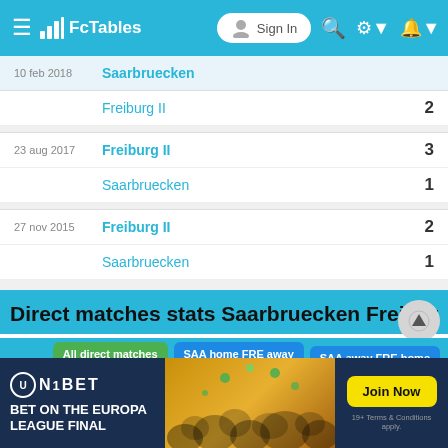FcTables — Sign In
| Date | Team | Score |
| --- | --- | --- |
| 10 feb 2018 | Saarbruecken |  |
| 10 feb 2018 | Freiburg II | 2 |
| 23 aug 2017 | Freiburg II | 3 |
| 23 aug 2017 | Saarbruecken | 1 |
| 27 nov 2015 | Freiburg II | 2 |
| 27 nov 2015 | Saarbruecken | 1 |
Direct matches stats Saarbruecken Freiburg II
All direct matches | SAA home FRE away | SAA away FRE home
Matches | Under/Over 1.5
[Figure (screenshot): Unibet advertisement banner: BET ON THE EUROPA LEAGUE FINAL — Join Now. 18+ Terms & Conditions apply.]